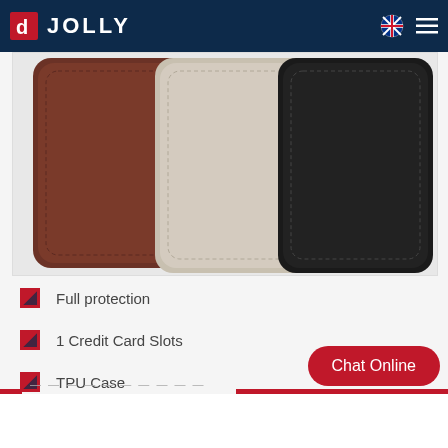JOLLY
[Figure (photo): Three leather phone cases shown side by side: brown (left), beige/gray (center), and black (right). Each case has rounded corners and visible stitching details.]
Full protection
1 Credit Card Slots
TPU Case
Chat Online